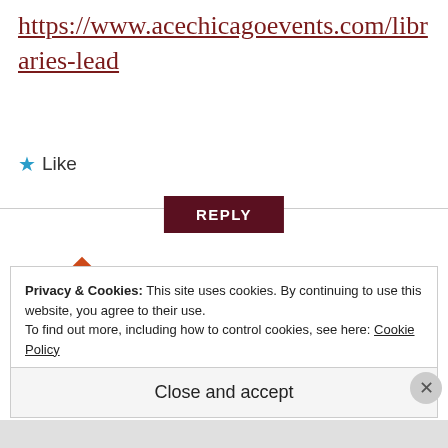https://www.acechicagoevents.com/libraries-lead
★ Like
REPLY
[Figure (illustration): Orange decorative diamond/cross pattern avatar icon for user Viola]
Viola
MAY 10, 2021 AT 2:20 PM
Another podcast called
Privacy & Cookies: This site uses cookies. By continuing to use this website, you agree to their use.
To find out more, including how to control cookies, see here: Cookie Policy
Close and accept